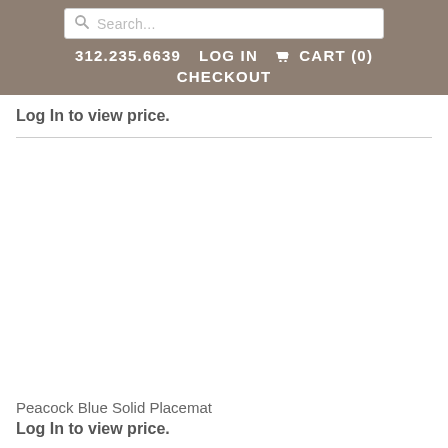Search... | 312.235.6639 | LOG IN | CART (0) | CHECKOUT
Log In to view price.
Peacock Blue Solid Placemat
Log In to view price.